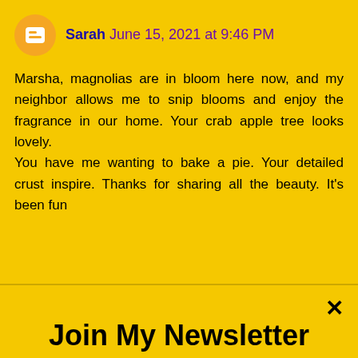Sarah June 15, 2021 at 9:46 PM
Marsha, magnolias are in bloom here now, and my neighbor allows me to snip blooms and enjoy the fragrance in our home. Your crab apple tree looks lovely.
You have me wanting to bake a pie. Your detailed crust inspire. Thanks for sharing all the beauty. It's been fun
Join My Newsletter
Signup today and be the first to receive notifications of new postings and updates.
Enter your email
Subscribe
powered by MailMunch